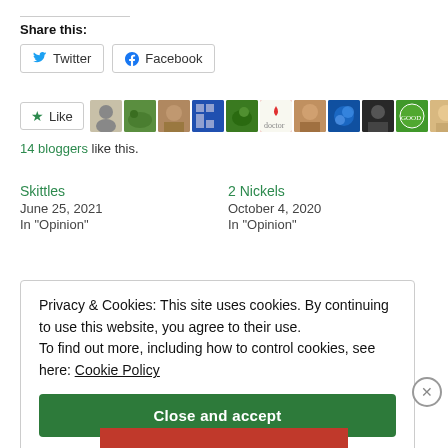Share this:
Twitter  Facebook
★ Like   14 bloggers like this.
Skittles
June 25, 2021
In "Opinion"
2 Nickels
October 4, 2020
In "Opinion"
Privacy & Cookies: This site uses cookies. By continuing to use this website, you agree to their use. To find out more, including how to control cookies, see here: Cookie Policy
Close and accept